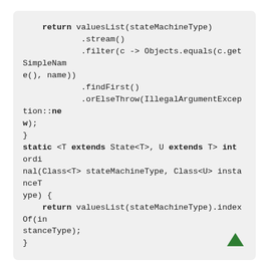return valuesList(stateMachineType)
        .stream()
        .filter(c -> Objects.equals(c.getSimpleName(), name))
        .findFirst()
        .orElseThrow(IllegalArgumentException::new);
}
static <T extends State<T>, U extends T> int ordinal(Class<T> stateMachineType, Class<U> instanceType) {
    return valuesList(stateMachineType).indexOf(instanceType);
}
[Figure (other): A green upward-pointing arrow icon in the bottom-right area of the page, used as a navigation button to scroll back to the top.]